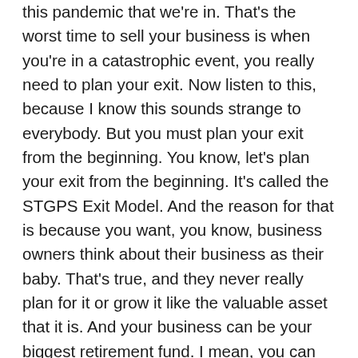this pandemic that we're in. That's the worst time to sell your business is when you're in a catastrophic event, you really need to plan your exit. Now listen to this, because I know this sounds strange to everybody. But you must plan your exit from the beginning. You know, let's plan your exit from the beginning. It's called the STGPS Exit Model. And the reason for that is because you want, you know, business owners think about their business as their baby. That's true, and they never really plan for it or grow it like the valuable asset that it is. And your business can be your biggest retirement fund. I mean, you can sell your business for millions, if you grow a million-dollar company, a multimillion-dollar company. So the GPS Exit Model is all about determining your endgame from your start starting a business or buying a business. And it's kind of like Jess when you drive somewhere. What's the first thing you do you pull out your phone? You go to Google Maps, and you plug in your destination, right? Yep. So business owners should have a destination. The destination are time is when